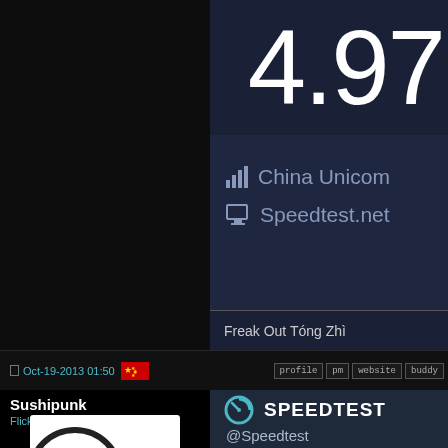[Figure (screenshot): Dark panel on left side, mostly black background]
[Figure (screenshot): Speedtest result showing 4.97 speed, China Unicom ISP, Speedtest.net host, dark navy background]
Freak Out Tóng Zhì
Oct-19-2013 01:50
profile  pm  website  buddy
Sushipunk
Flickering, I roam
[Figure (screenshot): Speedtest logo with circular gauge icon and @Speedtest handle]